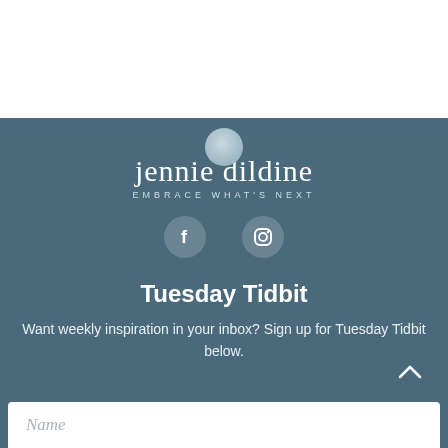[Figure (logo): Jennie Dildine logo with circle graphic, name in serif font, and tagline EMBRACE WHAT'S NEXT]
[Figure (infographic): Social media icons: Facebook and Instagram circles]
Tuesday Tidbit
Want weekly inspiration in your inbox? Sign up for Tuesday Tidbit below.